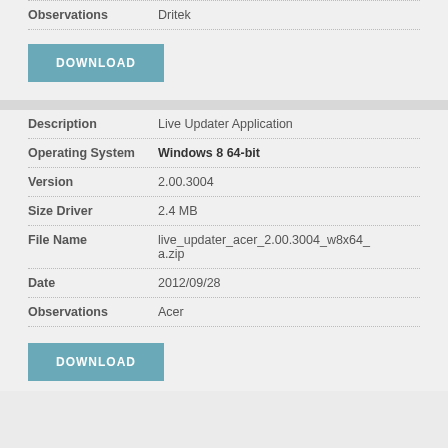| Field | Value |
| --- | --- |
| Observations | Dritek |
DOWNLOAD
| Field | Value |
| --- | --- |
| Description | Live Updater Application |
| Operating System | Windows 8 64-bit |
| Version | 2.00.3004 |
| Size Driver | 2.4 MB |
| File Name | live_updater_acer_2.00.3004_w8x64_a.zip |
| Date | 2012/09/28 |
| Observations | Acer |
DOWNLOAD